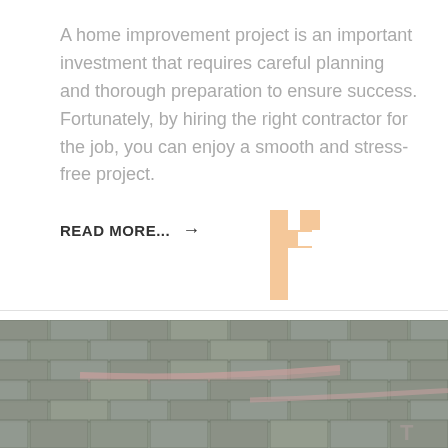A home improvement project is an important investment that requires careful planning and thorough preparation to ensure success. Fortunately, by hiring the right contractor for the job, you can enjoy a smooth and stress-free project.
READ MORE... →
[Figure (logo): Stylized letter F logo in light peach/orange color]
[Figure (photo): Close-up photograph of grey asphalt roof shingles with some pink chalk marks visible]